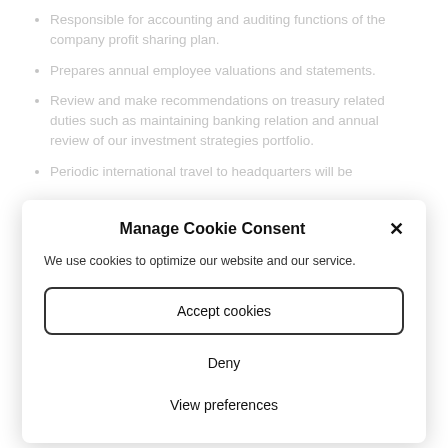Responsible for accounting and auditing functions of the company profit sharing plan.
Prepares annual employee valuations and statements.
Review and make recommendations on treasury related duties such as maintaining banking relation and annual review of our investment strategies portfolio.
Periodic international travel to headquarters will be
Manage Cookie Consent
We use cookies to optimize our website and our service.
Accept cookies
Deny
View preferences